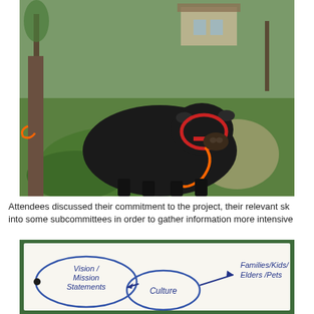[Figure (photo): A black cow with a red halter and orange lead rope lying on green grass in a garden setting with trees and a house visible in the background.]
Attendees discussed their commitment to the project, their relevant sk into some subcommittees in order to gather information more intensive
[Figure (other): A hand-drawn diagram on white paper with a green border showing 'Vision/Mission Statements' in an oval on the left connected by arrows to/from 'Culture' in an oval in the center, and 'Culture' connected by an arrow pointing right to 'Families/Kids/Elders/Pets' on the right.]